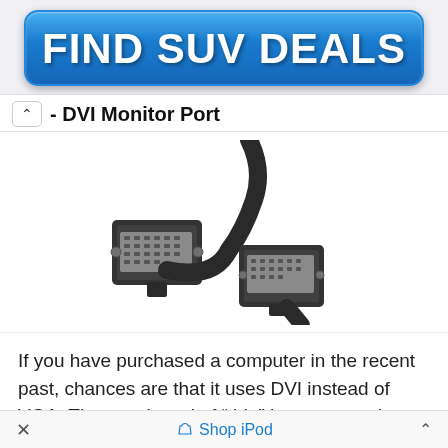[Figure (other): Blue button advertisement banner reading FIND SUV DEALS]
- DVI Monitor Port
[Figure (photo): Photo of two DVI cable connectors with a black cable]
If you have purchased a computer in the recent past, chances are that it uses DVI instead of VGA. The new breed of “thin” laptops use the smaller
×   Shop iPod   ^